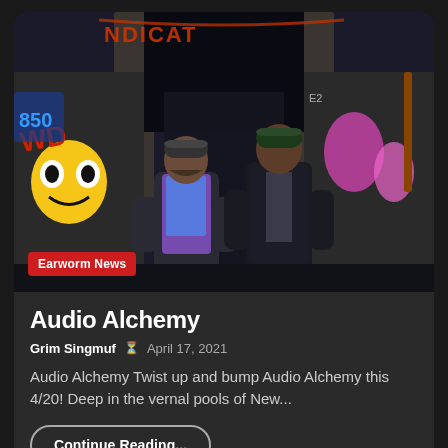[Figure (photo): Two men standing in front of a graffiti-covered stone archway tunnel. Both wear dark jackets and beanies. The left person wears a colorful hoodie. A banner reading 'Earworm News' appears in the bottom-left corner of the photo. Band/artist logo visible at top.]
Audio Alchemy
Grim Singmuf  April 17, 2021
Audio Alchemy Twist up and bump Audio Alchemy this 4/20! Deep in the vernal pools of New...
Continue Reading...
[Figure (photo): Partial bottom card visible, appears to be another article thumbnail with a watermark/logo graphic.]